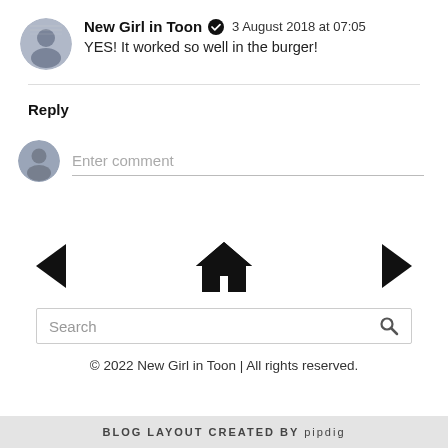New Girl in Toon ✓  3 August 2018 at 07:05
YES! It worked so well in the burger!
Reply
Enter comment
[Figure (infographic): Navigation row with left arrow (<), home icon, and right arrow (>)]
Search
© 2022 New Girl in Toon | All rights reserved.
BLOG LAYOUT CREATED BY pipdig